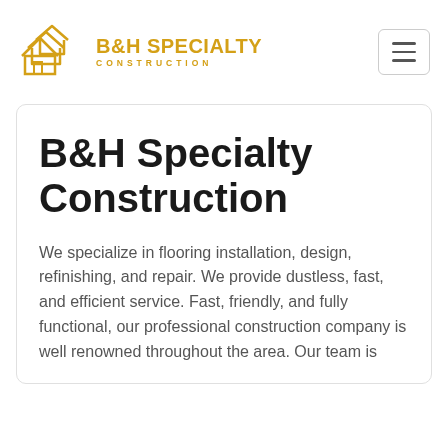[Figure (logo): B&H Specialty Construction logo: golden house icon with multiple roof lines, next to bold golden text 'B&H SPECIALTY' and 'CONSTRUCTION' in spaced capitals]
B&H Specialty Construction
We specialize in flooring installation, design, refinishing, and repair. We provide dustless, fast, and efficient service. Fast, friendly, and fully functional, our professional construction company is well renowned throughout the area. Our team is